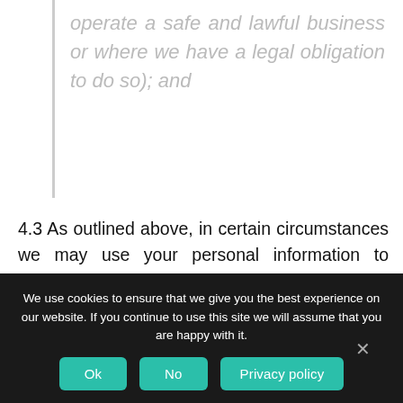operate a safe and lawful business or where we have a legal obligation to do so); and
4.3 As outlined above, in certain circumstances we may use your personal information to pursue legitimate interests of our own or those of third parties. Where we refer to using your information on the basis of our “legitimate interests”, we mean our legitimate business interests in conducting and managing our business and our relationship with you, including the legitimate interest we have in:
We use cookies to ensure that we give you the best experience on our website. If you continue to use this site we will assume that you are happy with it.